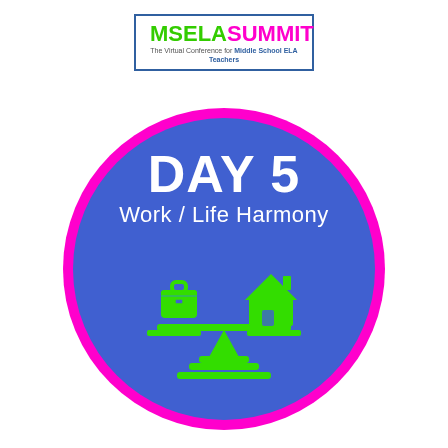[Figure (logo): MSELA SUMMIT logo — 'MSELA' in green bold, 'SUMMIT' in pink bold, subtitle 'The Virtual Conference for Middle School ELA Teachers' in small grey text, all inside a rectangular blue border.]
[Figure (infographic): Large circular infographic with hot-pink outer ring and blue interior. Bold white text 'DAY 5' at top, cursive white text 'Work / Life Harmony' below, and a green balance/scale icon with a briefcase on the left pan and a house on the right pan, balanced on a triangular fulcrum and base.]